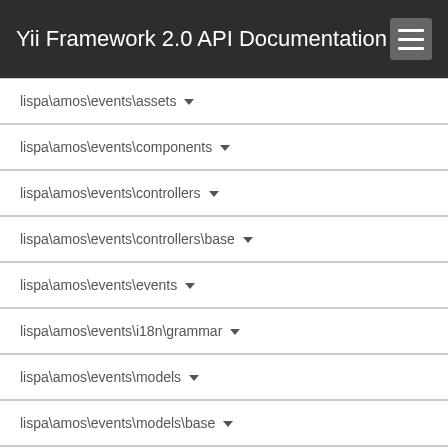Yii Framework 2.0 API Documentation
lispa\amos\events\assets
lispa\amos\events\components
lispa\amos\events\controllers
lispa\amos\events\controllers\base
lispa\amos\events\events
lispa\amos\events\i18n\grammar
lispa\amos\events\models
lispa\amos\events\models\base
lispa\amos\events\models\search
lispa\amos\events\rules